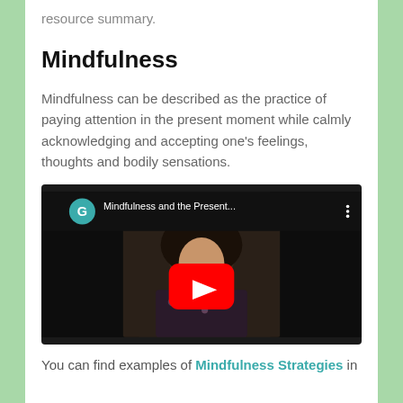resource summary.
Mindfulness
Mindfulness can be described as the practice of paying attention in the present moment while calmly acknowledging and accepting one's feelings, thoughts and bodily sensations.
[Figure (screenshot): YouTube video thumbnail showing a woman with curly hair, with a red YouTube play button in the center. Video title reads 'Mindfulness and the Present...' with a teal G avatar icon.]
You can find examples of Mindfulness Strategies in